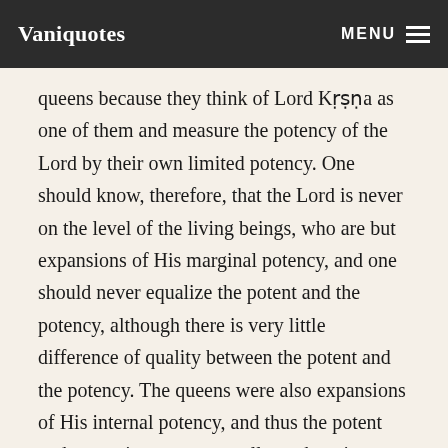Vaniquotes  MENU
queens because they think of Lord Kṛṣṇa as one of them and measure the potency of the Lord by their own limited potency. One should know, therefore, that the Lord is never on the level of the living beings, who are but expansions of His marginal potency, and one should never equalize the potent and the potency, although there is very little difference of quality between the potent and the potency. The queens were also expansions of His internal potency, and thus the potent and potencies are perpetually exchanging transcendental pleasures, known as pastimes of the Lord. One should not, therefore, become astonished to learn that the Lord married so many wives. On the contrary, one should affirm that even if the Lord marries sixteen thousand million wives, He is not completely manifesting His unlimited and inexhaustible potency. He married only 16,000 wives and entered in each and every one of the different palaces just to impress in the history of the human